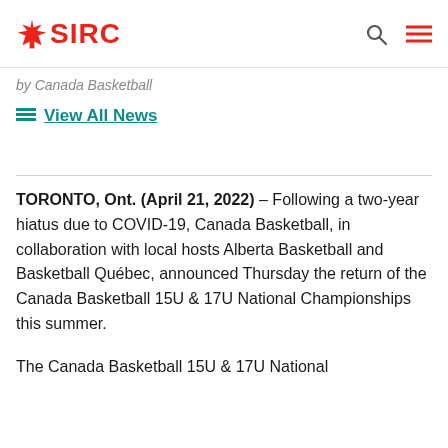SIRC
by Canada Basketball
View All News
TORONTO, Ont. (April 21, 2022) – Following a two-year hiatus due to COVID-19, Canada Basketball, in collaboration with local hosts Alberta Basketball and Basketball Québec, announced Thursday the return of the Canada Basketball 15U & 17U National Championships this summer.
The Canada Basketball 15U & 17U National